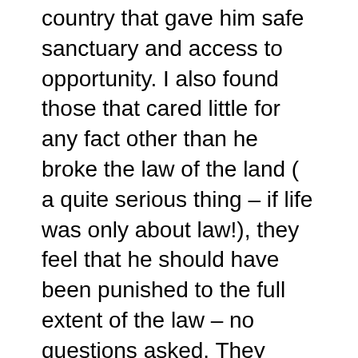country that gave him safe sanctuary and access to opportunity. I also found those that cared little for any fact other than he broke the law of the land ( a quite serious thing – if life was only about law!), they feel that he should have been punished to the full extent of the law – no questions asked. They generally feel his crime was poorly punished – perhaps they wished he had been summarily executed for treason – the issue of truth and accountability goes right out
Unapologetic and as determined as ever, Mordechai Vanunu is now a free man, or is he?. Not exactly – the current Israeli administration – built from the same core of paranoid and idealogical off shoots of the militaristic elite of